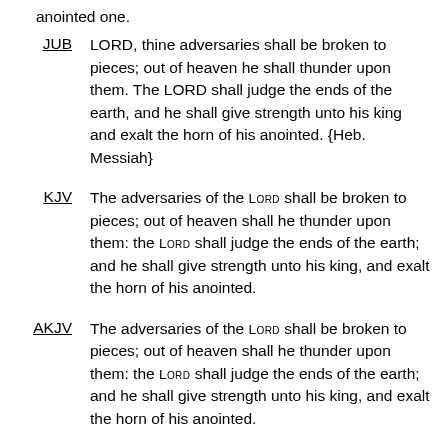anointed one.
JUB  LORD, thine adversaries shall be broken to pieces; out of heaven he shall thunder upon them. The LORD shall judge the ends of the earth, and he shall give strength unto his king and exalt the horn of his anointed. {Heb. Messiah}
KJV  The adversaries of the LORD shall be broken to pieces; out of heaven shall he thunder upon them: the LORD shall judge the ends of the earth; and he shall give strength unto his king, and exalt the horn of his anointed.
AKJV  The adversaries of the LORD shall be broken to pieces; out of heaven shall he thunder upon them: the LORD shall judge the ends of the earth; and he shall give strength unto his king, and exalt the horn of his anointed.